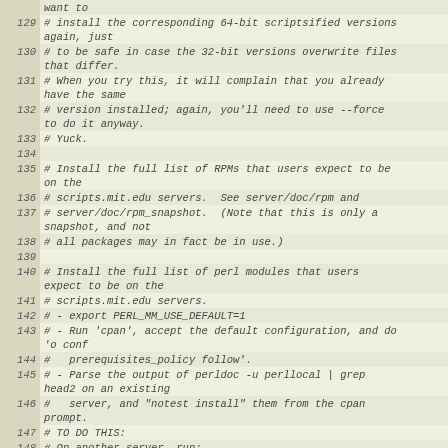Code listing lines 129-149, shell script comments about installing 64-bit scriptsified versions, RPMs, and perl modules for scripts.mit.edu servers.